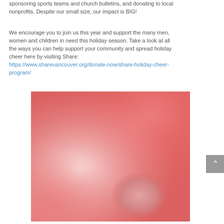sponsoring sports teams and church bulletins, and donating to local nonprofits. Despite our small size, our impact is BIG!
We encourage you to join us this year and support the many men, women and children in need this holiday season. Take a look at all the ways you can help support your community and spread holiday cheer here by visiting Share: https://www.sharevancouver.org/donate-now/share-holiday-cheer-program/
[Figure (photo): Abstract blurred red and white gradient image, possibly a holiday-themed decorative photo.]
We are honoring our customers who support small businesses